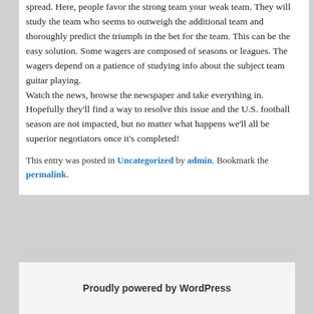spread. Here, people favor the strong team your weak team. They will study the team who seems to outweigh the additional team and thoroughly predict the triumph in the bet for the team. This can be the easy solution. Some wagers are composed of seasons or leagues. The wagers depend on a patience of studying info about the subject team guitar playing.
Watch the news, browse the newspaper and take everything in. Hopefully they'll find a way to resolve this issue and the U.S. football season are not impacted, but no matter what happens we'll all be superior negotiators once it's completed!
This entry was posted in Uncategorized by admin. Bookmark the permalink.
Proudly powered by WordPress